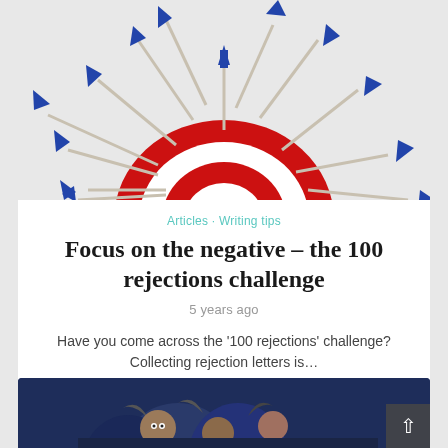[Figure (photo): Arrows radiating outward from a red and white bullseye target, all missing the center, on a light gray background]
Articles · Writing tips
Focus on the negative – the 100 rejections challenge
5 years ago
Have you come across the '100 rejections' challenge? Collecting rejection letters is…
[Figure (photo): Animated viking characters in armor, partial view at bottom of page]